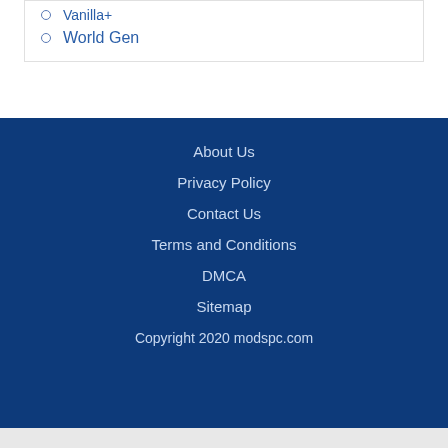Vanilla+
World Gen
About Us
Privacy Policy
Contact Us
Terms and Conditions
DMCA
Sitemap
Copyright 2020 modspc.com